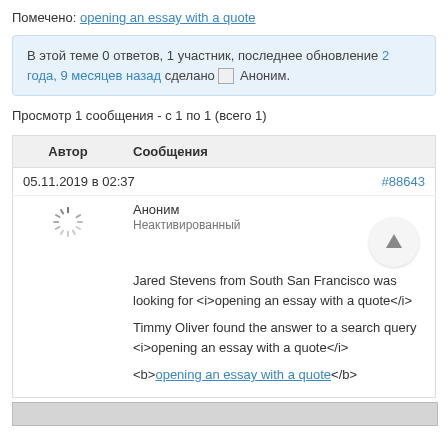Помечено: opening an essay with a quote
В этой теме 0 ответов, 1 участник, последнее обновление 2 года, 9 месяцев назад сделано Аноним.
Просмотр 1 сообщения - с 1 по 1 (всего 1)
| Автор | Сообщения |
| --- | --- |
| 05.11.2019 в 02:37 | #88643 |
| Аноним
Неактивированный | Jared Stevens from South San Francisco was looking for <i>opening an essay with a quote</i>

Timmy Oliver found the answer to a search query <i>opening an essay with a quote</i>

<b>opening an essay with a quote</b> |
[Figure (other): Bottom partial image strip]